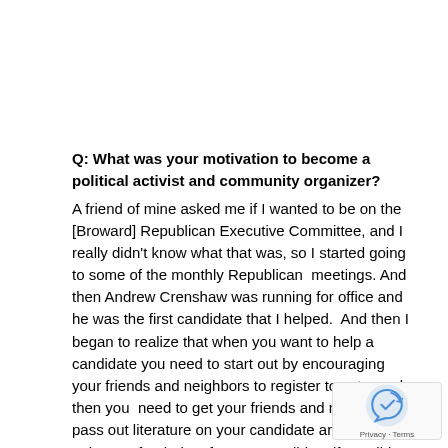Q: What was your motivation to become a political activist and community organizer?
A friend of mine asked me if I wanted to be on the [Broward] Republican Executive Committee, and I really didn't know what that was, so I started going to some of the monthly Republican  meetings. And then Andrew Crenshaw was running for office and he was the first candidate that I helped.  And then I began to realize that when you want to help a candidate you need to start out by encouraging your friends and neighbors to register to vote, and then you  need to get your friends and neighbors to pass out literature on your candidate and they need to have a fundraiser for your candidate if possible.  And I would write a letter in my precinct explaining who I was voting for in each election and asking them to please vote for these candidates or call me if they had any questions, and that's how I got started in the grassroots part. Because, I mean, you can work for